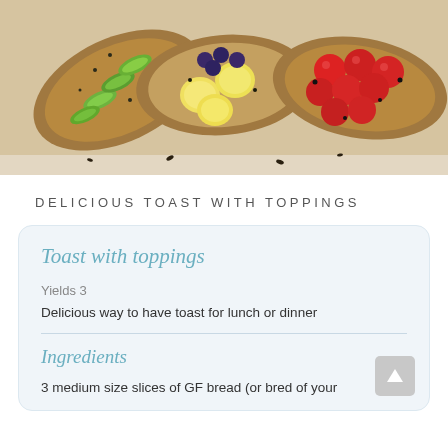[Figure (photo): Three slices of toast with toppings on a wooden board: left slice with sliced avocado and seeds, middle slice with banana slices and blueberries, right slice with cherry tomatoes and seeds.]
DELICIOUS TOAST WITH TOPPINGS
Toast with toppings
Yields 3
Delicious way to have toast for lunch or dinner
Ingredients
3 medium size slices of GF bread (or bred of your